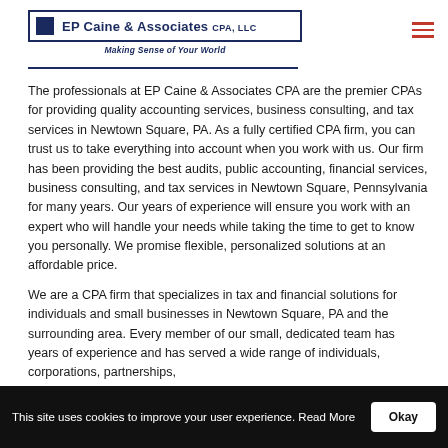[Figure (logo): EP Caine & Associates CPA, LLC logo with dark blue border box, blue square icon, company name in bold dark blue text, and italic tagline 'Making Sense of Your World']
The professionals at EP Caine & Associates CPA are the premier CPAs for providing quality accounting services, business consulting, and tax services in Newtown Square, PA. As a fully certified CPA firm, you can trust us to take everything into account when you work with us. Our firm has been providing the best audits, public accounting, financial services, business consulting, and tax services in Newtown Square, Pennsylvania for many years. Our years of experience will ensure you work with an expert who will handle your needs while taking the time to get to know you personally. We promise flexible, personalized solutions at an affordable price.
We are a CPA firm that specializes in tax and financial solutions for individuals and small businesses in Newtown Square, PA and the surrounding area. Every member of our small, dedicated team has years of experience and has served a wide range of individuals, corporations, partnerships,
This site uses cookies to improve your user experience. Read More